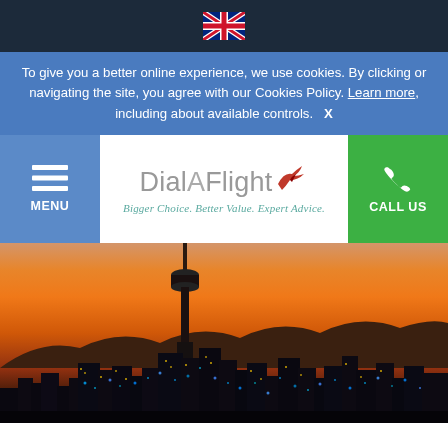[Figure (logo): UK flag icon in top dark navy bar]
To give you a better online experience, we use cookies. By clicking or navigating the site, you agree with our Cookies Policy. Learn more, including about available controls.   X
[Figure (logo): DialAFlight logo with tagline: Bigger Choice. Better Value. Expert Advice.]
[Figure (photo): Auckland city skyline at sunset/dusk with Sky Tower prominent, orange sky, city lights illuminated]